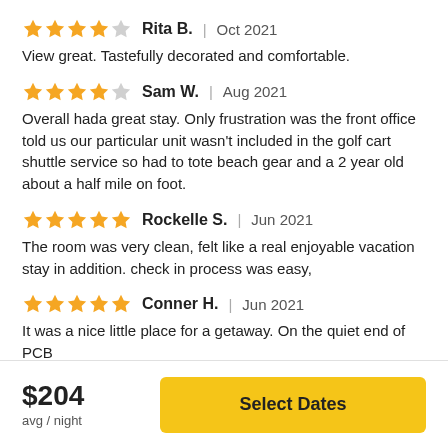★★★★☆ Rita B. | Oct 2021
View great. Tastefully decorated and comfortable.
★★★★☆ Sam W. | Aug 2021
Overall hada great stay. Only frustration was the front office told us our particular unit wasn't included in the golf cart shuttle service so had to tote beach gear and a 2 year old about a half mile on foot.
★★★★★ Rockelle S. | Jun 2021
The room was very clean, felt like a real enjoyable vacation stay in addition. check in process was easy,
★★★★★ Conner H. | Jun 2021
It was a nice little place for a getaway. On the quiet end of PCB
$204
avg / night
Select Dates